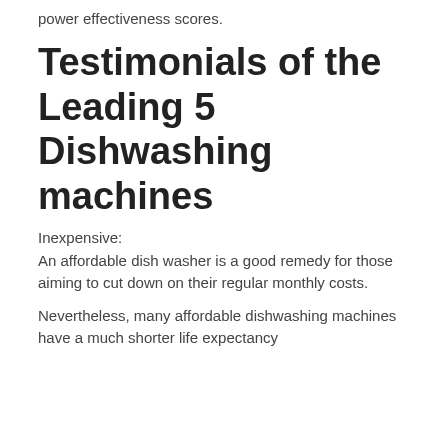power effectiveness scores.
Testimonials of the Leading 5 Dishwashing machines
Inexpensive:
An affordable dish washer is a good remedy for those aiming to cut down on their regular monthly costs.
Nevertheless, many affordable dishwashing machines have a much shorter life expectancy